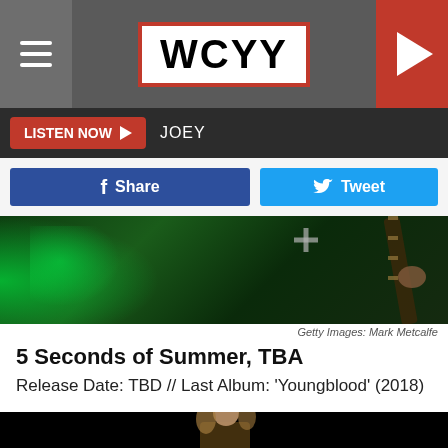WCYY
LISTEN NOW  JOEY
Share  Tweet
[Figure (photo): Concert photo showing guitarist on stage with green lighting and electric guitar]
Getty Images: Mark Metcalfe
5 Seconds of Summer, TBA
Release Date: TBD // Last Album: 'Youngblood' (2018)
[Figure (photo): Concert photo of performer (Angus Young style) wearing green cap on dark stage with spotlight]